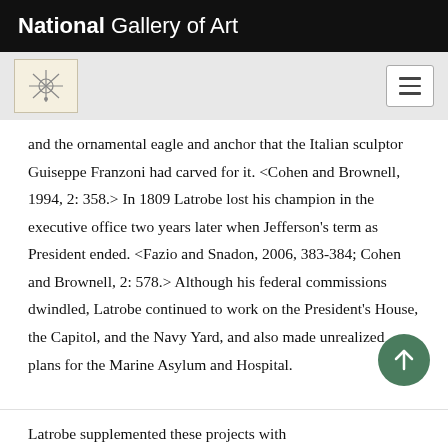National Gallery of Art
and the ornamental eagle and anchor that the Italian sculptor Guiseppe Franzoni had carved for it. <Cohen and Brownell, 1994, 2: 358.> In 1809 Latrobe lost his champion in the executive office two years later when Jefferson's term as President ended. <Fazio and Snadon, 2006, 383-384; Cohen and Brownell, 2: 578.> Although his federal commissions dwindled, Latrobe continued to work on the President's House, the Capitol, and the Navy Yard, and also made unrealized plans for the Marine Asylum and Hospital.
Latrobe supplemented these projects with